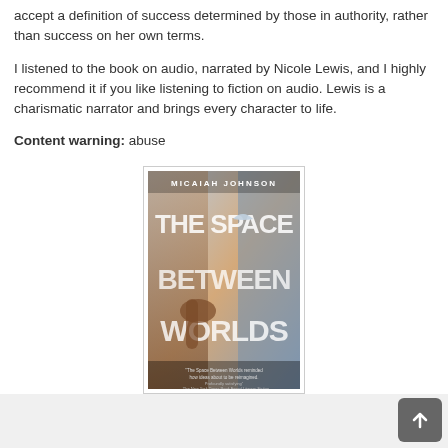accept a definition of success determined by those in authority, rather than success on her own terms.
I listened to the book on audio, narrated by Nicole Lewis, and I highly recommend it if you like listening to fiction on audio. Lewis is a charismatic narrator and brings every character to life.
Content warning: abuse
[Figure (photo): Book cover of 'The Space Between Worlds' by Micaiah Johnson. The cover shows a dramatic sci-fi scene with large stylized title text and a blurb from The New York Times Book Review.]